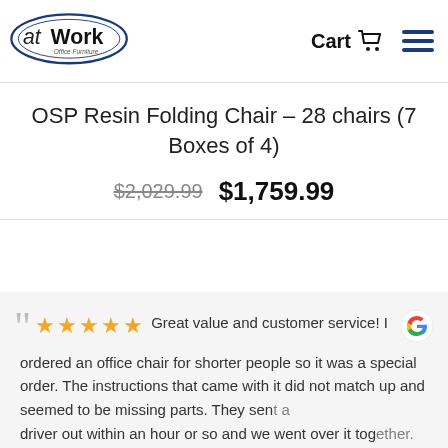[Figure (logo): atWork Office Furniture logo — oval shape with company name]
Cart 🛒  ☰
OSP Resin Folding Chair – 28 chairs (7 Boxes of 4)
$2,029.99  $1,759.99
" ★★★★★ Great value and customer service! I ordered an office chair for shorter people so it was a special order. The instructions that came with it did not match up and seemed to be missing parts. They sent a driver out within an hour or so and we went over it together. They agreed this was not quite right and took the cha...